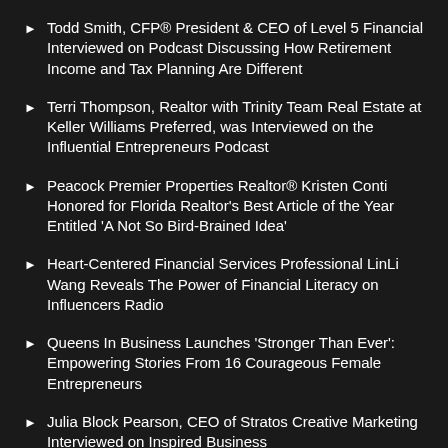Todd Smith, CFP® President & CEO of Level 5 Financial Interviewed on Podcast Discussing How Retirement Income and Tax Planning Are Different
Terri Thompson, Realtor with Trinity Team Real Estate at Keller Williams Preferred, was Interviewed on the Influential Entrepreneurs Podcast
Peacock Premier Properties Realtor® Kristen Conti Honored for Florida Realtor's Best Article of the Year Entitled 'A Not So Bird-Brained Idea'
Heart-Centered Financial Services Professional LinLi Wang Reveals The Power of Financial Literacy on Influencers Radio
Queens In Business Launches 'Stronger Than Ever': Empowering Stories From 16 Courageous Female Entrepreneurs
Julia Block Pearson, CEO of Stratos Creative Marketing Interviewed on Inspired Business...